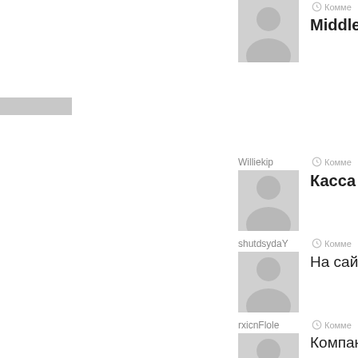[Figure (screenshot): Website comment section showing user avatars and usernames with comment previews. Users visible: Williekip (Middle East comment), Williekip (Касса инте... comment), shutdsydaY (На сайте ht... comment), rxicnFlole (Компания «... comment), PabloVek (http://w... comment). Each user has a default gray avatar placeholder.]
Комме
Middle Eas
Williekip
Комме
Касса инте
shutdsydaY
Комме
На сайте ht
rxicnFlole
Комме
Компания «
PabloVek
Комме
http://w.r